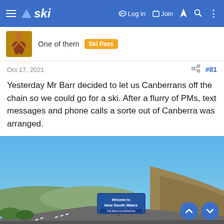ski — Log in  Join
One of them  Ski Pass
Oct 17, 2021  #81
Yesterday Mr Barr decided to let us Canberrans off the chain so we could go for a ski. After a flurry of PMs, text messages and phone calls a sorte out of Canberra was arranged.
[Figure (photo): Photo taken from a moving car showing a highway with a blue 'Welcome to New South Wales' road sign on the left side, dry grassy hills on the right, and a bright blue sky above.]